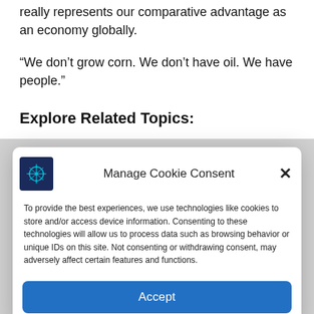really represents our comparative advantage as an economy globally.
“We don’t grow corn. We don’t have oil. We have people.”
Explore Related Topics:
[Figure (screenshot): Manage Cookie Consent modal dialog with logo, close button, consent text, and Accept button]
To provide the best experiences, we use technologies like cookies to store and/or access device information. Consenting to these technologies will allow us to process data such as browsing behavior or unique IDs on this site. Not consenting or withdrawing consent, may adversely affect certain features and functions.
Accept